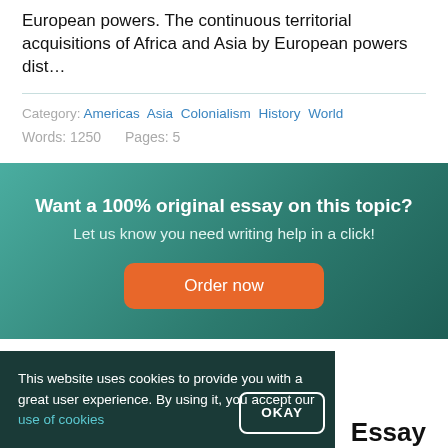European powers. The continuous territorial acquisitions of Africa and Asia by European powers dist…
Category: Americas  Asia  Colonialism  History  World
Words: 1250    Pages: 5
Want a 100% original essay on this topic? Let us know you need writing help in a click!
Order now
This website uses cookies to provide you with a great user experience. By using it, you accept our use of cookies
OKAY
Essay
Example